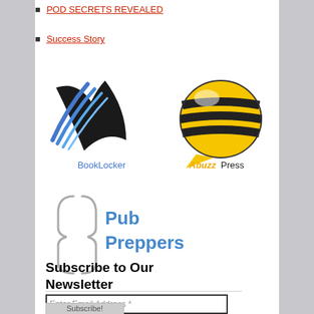POD SECRETS REVEALED
Success Story
[Figure (logo): BookLocker logo - blue wing/bookmark shape with text BookLocker below]
[Figure (logo): Abuzz Press logo - yellow and black bee/speech bubble with Abuzz Press text]
[Figure (logo): Pub Preppers logo - open book bracket design with blue Pub Preppers text]
Subscribe to Our Newsletter
Enter Email Address *
Subscribe!